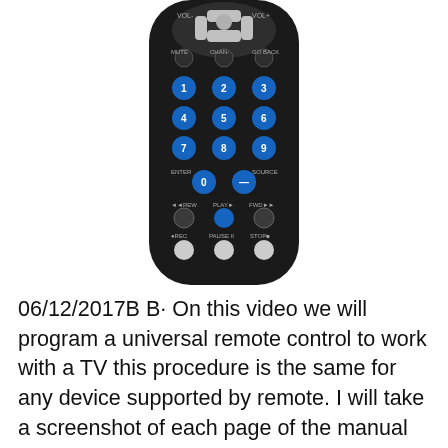[Figure (photo): Photo of a black universal TV remote control with blue number buttons (1-9), and transport control buttons including REW, PLAY, FWD, REC, PAUSE, STOP, as well as MUTE, CHAN-, GO BACK, ENTER, SOURCE buttons.]
06/12/2017B B· On this video we will program a universal remote control to work with a TV this procedure is the same for any device supported by remote. I will take a screenshot of each page of the manual in DIGITAL PRISM